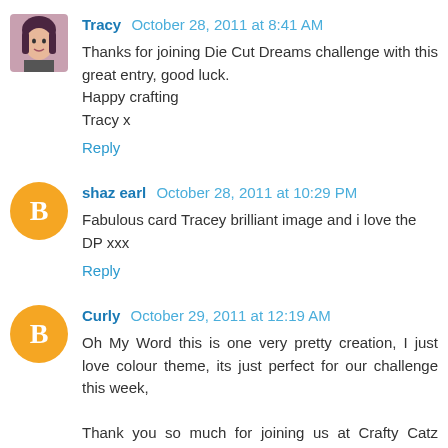Tracy  October 28, 2011 at 8:41 AM
Thanks for joining Die Cut Dreams challenge with this great entry, good luck.
Happy crafting
Tracy x
Reply
shaz earl  October 28, 2011 at 10:29 PM
Fabulous card Tracey brilliant image and i love the DP xxx
Reply
Curly  October 29, 2011 at 12:19 AM
Oh My Word this is one very pretty creation, I just love colour theme, its just perfect for our challenge this week,

Thank you so much for joining us at Crafty Catz Challenge
Happy Birthday